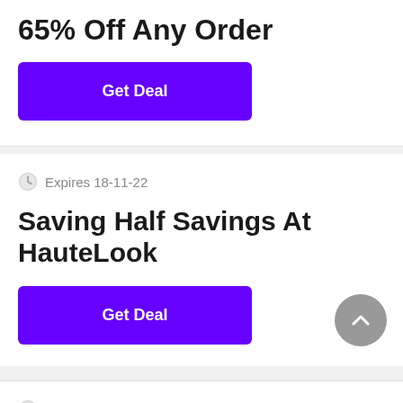65% Off Any Order
[Figure (other): Purple 'Get Deal' button]
Expires 18-11-22
Saving Half Savings At HauteLook
[Figure (other): Purple 'Get Deal' button]
[Figure (other): Grey scroll-to-top chevron button]
Expires 17-11-22